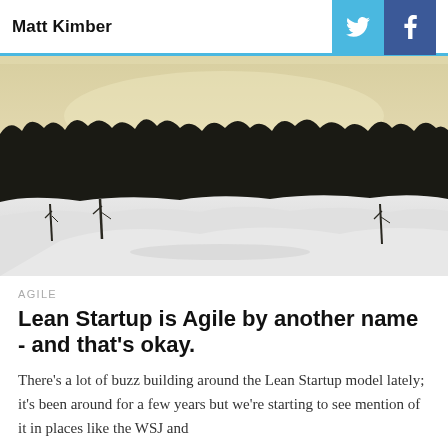Matt Kimber
[Figure (photo): Winter landscape with snow-covered ground, sparse bare trees in foreground, dense dark treeline of pine/spruce forest in background, pale yellowish sky]
AGILE
Lean Startup is Agile by another name - and that's okay.
There's a lot of buzz building around the Lean Startup model lately; it's been around for a few years but we're starting to see mention of it in places like the WSJ and
5 MIN READ